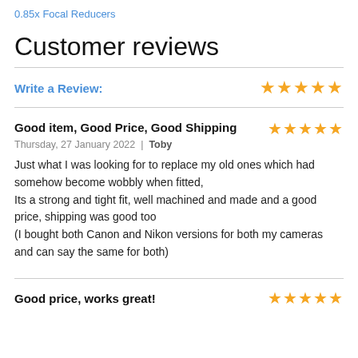0.85x Focal Reducers
Customer reviews
Write a Review:
Good item, Good Price, Good Shipping
Thursday, 27 January 2022 | Toby
Just what I was looking for to replace my old ones which had somehow become wobbly when fitted,
Its a strong and tight fit, well machined and made and a good price, shipping was good too
(I bought both Canon and Nikon versions for both my cameras and can say the same for both)
Good price, works great!